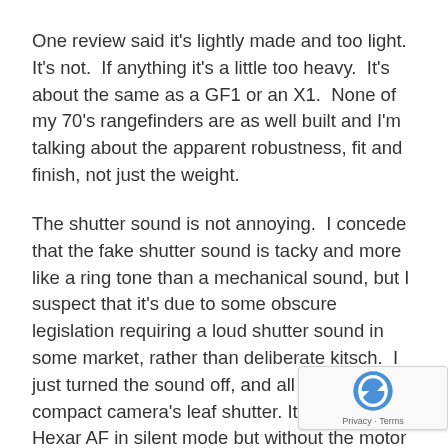One review said it's lightly made and too light.  It's not.  If anything it's a little too heavy.  It's about the same as a GF1 or an X1.  None of my 70's rangefinders are as well built and I'm talking about the apparent robustness, fit and finish, not just the weight.
The shutter sound is not annoying.  I concede that the fake shutter sound is tacky and more like a ring tone than a mechanical sound, but I suspect that it's due to some obscure legislation requiring a loud shutter sound in some market, rather than deliberate kitsch.  I just turned the sound off, and all that's left is a compact camera's leaf shutter. It sounds like a Hexar AF in silent mode but without the motor drive. I am super grateful for that as the sharp clack of the GF1 is way too loud. The X100 has its own silent mode, suppressing all artificial sounds, the AF assist light and even the flash and with the back display